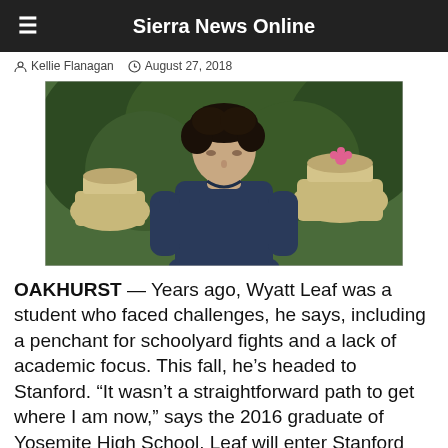Sierra News Online
Kellie Flanagan   August 27, 2018
[Figure (photo): Young man with dark curly hair wearing a navy blue sweatshirt, standing in front of large stone urns and green foliage, with a pink flower visible in the background.]
OAKHURST — Years ago, Wyatt Leaf was a student who faced challenges, he says, including a penchant for schoolyard fights and a lack of academic focus. This fall, he’s headed to Stanford. “It wasn’t a straightforward path to get where I am now,” says the 2016 graduate of Yosemite High School. Leaf will enter Stanford University as a junior this ...